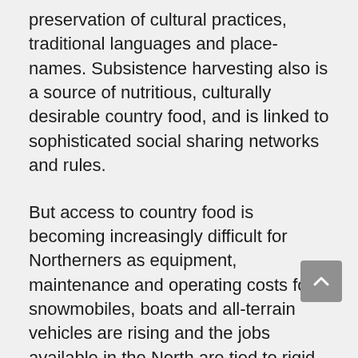preservation of cultural practices, traditional languages and place-names. Subsistence harvesting also is a source of nutritious, culturally desirable country food, and is linked to sophisticated social sharing networks and rules.
But access to country food is becoming increasingly difficult for Northerners as equipment, maintenance and operating costs for snowmobiles, boats and all-terrain vehicles are rising and the jobs available in the North are tied to rigid work schedules that are often not well matched to the timing of subsistence activities.
The future of the Arctic economy must